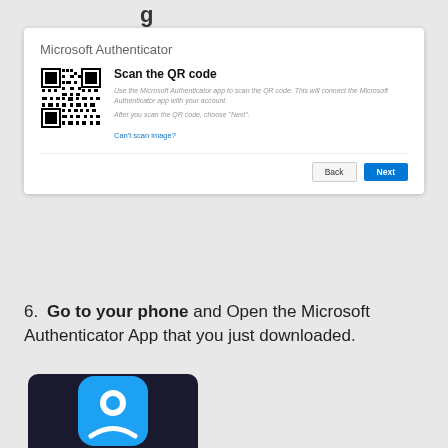g
[Figure (screenshot): Microsoft Authenticator dialog box showing 'Scan the QR code' with a QR code image on the left, instructions text, a 'Can't scan image?' link, and Back/Next buttons at the bottom.]
6. Go to your phone and Open the Microsoft Authenticator App that you just downloaded.
[Figure (photo): Partial photo showing the Microsoft Authenticator app icon (blue rounded square with white person/lock icon) on a dark background.]